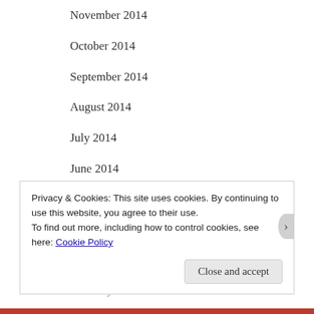November 2014
October 2014
September 2014
August 2014
July 2014
June 2014
May 2014
April 2014
March 2014
February 2014
Privacy & Cookies: This site uses cookies. By continuing to use this website, you agree to their use.
To find out more, including how to control cookies, see here: Cookie Policy
Close and accept